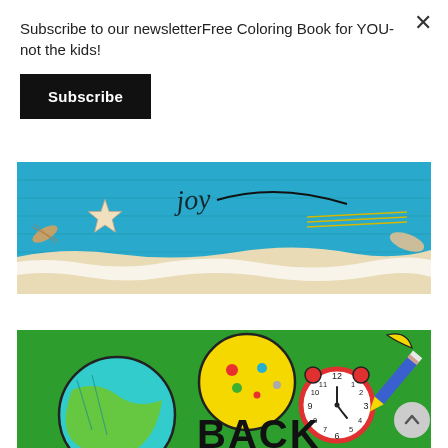Subscribe to our newsletterFree Coloring Book for YOU- not the kids!
[Figure (illustration): Black 'Subscribe' button for newsletter signup]
[Figure (photo): Beach scene with blue painted wood planks, starfish, sand, and handwritten text]
[Figure (illustration): Colorful back-to-school cartoon graphic on green background with globe, clock, cookie, pencil, and 'BACK' text]